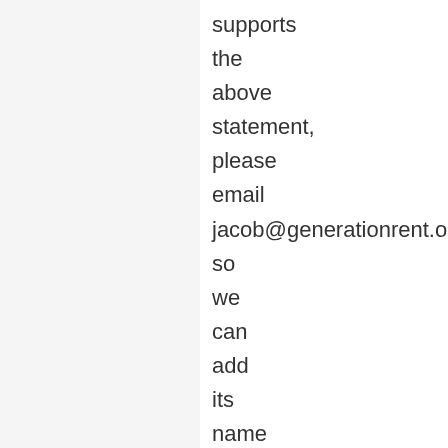supports the above statement, please email jacob@generationrent.org so we can add its name to the list of supporters below.
For individuals:
-